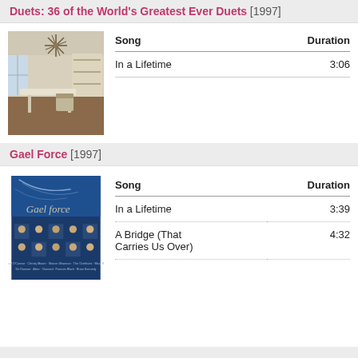Duets: 36 of the World's Greatest Ever Duets [1997]
[Figure (photo): Album cover showing an interior room with a white dining table and decorative ceiling medallion]
| Song | Duration |
| --- | --- |
| In a Lifetime | 3:06 |
Gael Force [1997]
[Figure (photo): Album cover for Gael Force showing blue background with script text and photos of performers]
| Song | Duration |
| --- | --- |
| In a Lifetime | 3:39 |
| A Bridge (That Carries Us Over) | 4:32 |